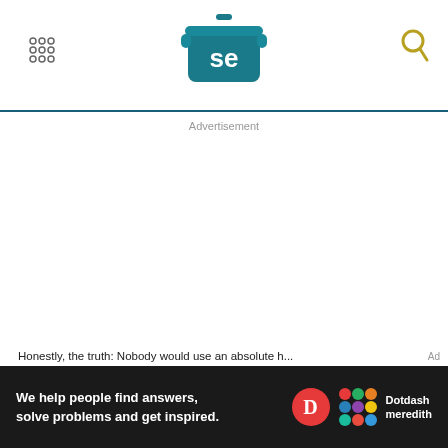[Figure (logo): Serious Eats logo — teal/dark-teal cooking pot icon with 'se' text in white, centered in header]
[Figure (other): 3x3 grid of small circle dots (menu icon) in upper left of header]
[Figure (other): Search/magnifying glass icon in gold/olive color, upper right of header]
Advertisement
Honestly, the truth: Nobody would use an absolute h...
Ad
[Figure (infographic): Dotdash Meredith advertisement banner — dark background with white text 'We help people find answers, solve problems and get inspired.' alongside the Dotdash Meredith logo (red D circle and colorful dots grid)]